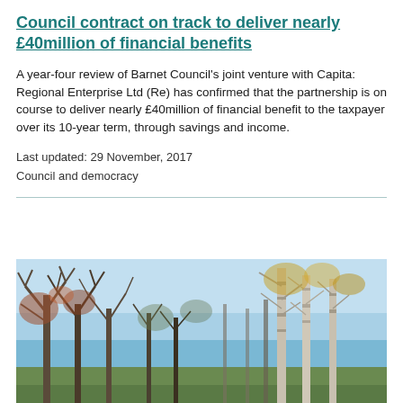Council contract on track to deliver nearly £40million of financial benefits
A year-four review of Barnet Council's joint venture with Capita: Regional Enterprise Ltd (Re) has confirmed that the partnership is on course to deliver nearly £40million of financial benefit to the taxpayer over its 10-year term, through savings and income.
Last updated: 29 November, 2017
Council and democracy
[Figure (photo): Photograph of bare winter trees with blue sky background, showing a park or woodland scene in autumn/winter.]